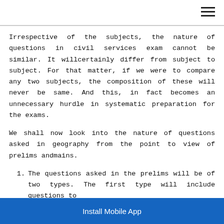Irrespective of the subjects, the nature of questions in civil services exam cannot be similar. It willcertainly differ from subject to subject. For that matter, if we were to compare any two subjects, the composition of these will never be same. And this, in fact becomes an unnecessary hurdle in systematic preparation for the exams.
We shall now look into the nature of questions asked in geography from the point to view of prelims andmains.
1. The questions asked in the prelims will be of two types. The first type will include questions to...
Install Mobile App